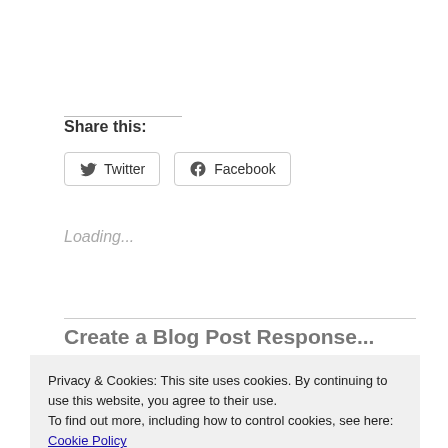Share this:
Twitter
Facebook
Loading...
Create a Blog Post Response...
Privacy & Cookies: This site uses cookies. By continuing to use this website, you agree to their use.
To find out more, including how to control cookies, see here: Cookie Policy
Close and accept
less patties garnered kid and omnivore approval.